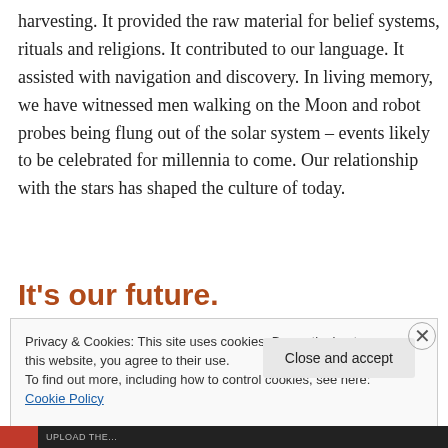harvesting. It provided the raw material for belief systems, rituals and religions. It contributed to our language. It assisted with navigation and discovery. In living memory, we have witnessed men walking on the Moon and robot probes being flung out of the solar system – events likely to be celebrated for millennia to come. Our relationship with the stars has shaped the culture of today.
It's our future.
Privacy & Cookies: This site uses cookies. By continuing to use this website, you agree to their use. To find out more, including how to control cookies, see here: Cookie Policy